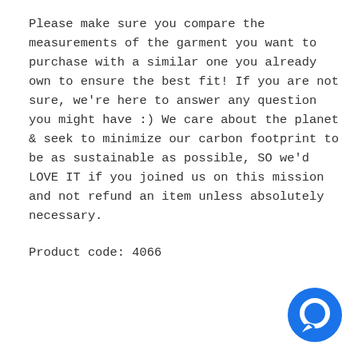Please make sure you compare the measurements of the garment you want to purchase with a similar one you already own to ensure the best fit! If you are not sure, we're here to answer any question you might have :) We care about the planet & seek to minimize our carbon footprint to be as sustainable as possible, SO we'd LOVE IT if you joined us on this mission and not refund an item unless absolutely necessary.
Product code: 4066
[Figure (illustration): Blue circular chat/message icon in the bottom-right corner of the page]